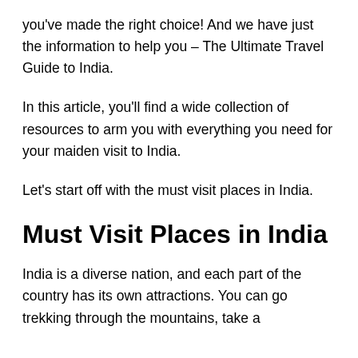you've made the right choice! And we have just the information to help you – The Ultimate Travel Guide to India.
In this article, you'll find a wide collection of resources to arm you with everything you need for your maiden visit to India.
Let's start off with the must visit places in India.
Must Visit Places in India
India is a diverse nation, and each part of the country has its own attractions. You can go trekking through the mountains, take a